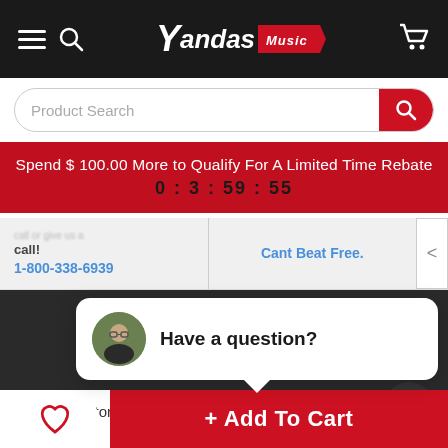[Figure (screenshot): Yandas Music website header with hamburger menu, search icon, logo, and cart icon on black background]
[Figure (screenshot): Product search input bar with red search button]
Spend $ 100.00 More to Qualify For A Limited Time Rebate
0 : 3 : 59 : 55
call!
1-800-338-6939
Cant Beat Free.
close
Have a question?
Enter Your Em
132 Visitor Right Now